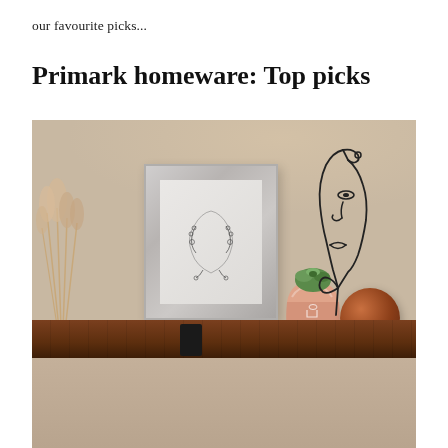our favourite picks...
Primark homeware: Top picks
[Figure (photo): A styled shelf scene featuring a grey wooden picture frame with botanical art, a pink face-shaped ceramic planter with a succulent, a black wire abstract face sculpture, and a round wooden ball ornament, all arranged on a dark walnut floating shelf against a warm beige wall with soft light and pampas grass in the lower left.]